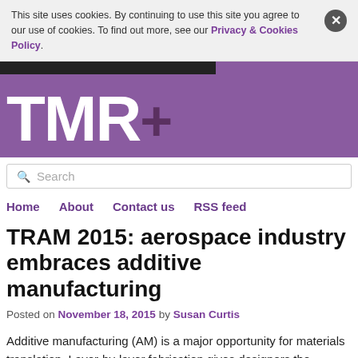This site uses cookies. By continuing to use this site you agree to our use of cookies. To find out more, see our Privacy & Cookies Policy.
[Figure (logo): TMR+ website logo — white bold letters TMR and a dark plus sign on a purple/mauve background with a black bar at the top]
Search
Home   About   Contact us   RSS feed
TRAM 2015: aerospace industry embraces additive manufacturing
Posted on November 18, 2015 by Susan Curtis
Additive manufacturing (AM) is a major opportunity for materials translation. Layer-by-layer fabrication gives designers the freedom to specify lightweight and highly-integrated components that would be